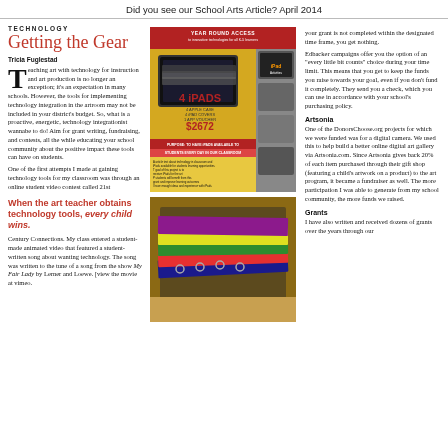Did you see our School Arts Article? April 2014
TECHNOLOGY
Getting the Gear
Tricia Fuglestad
Teaching art with technology for instruction and art production is no longer an exception; it's an expectation in many schools. However, the tools for implementing technology integration in the artroom may not be included in your district's budget. So, what is a proactive, energetic, technology integrationist wannabe to do! Aim for grant writing, fundraising, and contests, all the while educating your school community about the positive impact these tools can have on students.
One of the first attempts I made at gaining technology tools for my classroom was through an online student video contest called 21st
When the art teacher obtains technology tools, every child wins.
Century Connections. My class entered a student-made animated video that featured a student-written song about wanting technology. The song was written to the tune of a song from the show My Fair Lady by Lerner and Loewe. [view the movie at vimeo.
[Figure (photo): DonorsChoose campaign page showing 4 iPads package with Year Round Access header, iPad images, price $2672]
[Figure (photo): Photo of colorful binders/folders stacked on a desk]
your grant is not completed within the designated time frame, you get nothing.
Edbacker campaigns offer you the option of an "every little bit counts" choice during your time limit. This means that you get to keep the funds you raise towards your goal, even if you don't fund it completely. They send you a check, which you can use in accordance with your school's purchasing policy.
Artsonia
One of the DonorsChoose.org projects for which we were funded was for a digital camera. We used this to help build a better online digital art gallery via Artsonia.com. Since Artsonia gives back 20% of each item purchased through their gift shop (featuring a child's artwork on a product) to the art program, it became a fundraiser as well. The more participation I was able to generate from my school community, the more funds we raised.
Grants
I have also written and received dozens of grants over the years through our